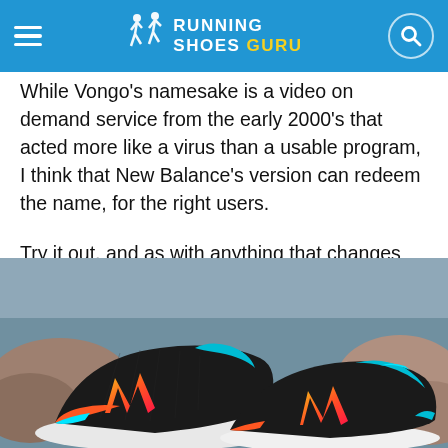RUNNING SHOES GURU
While Vongo's namesake is a video on demand service from the early 2000's that acted more like a virus than a usable program, I think that New Balance's version can redeem the name, for the right users.
Try it out, and as with anything that changes your muscle activation and form particulars in running, ease into this shoe if it's a dramatic change from what you're used to.
[Figure (photo): Two New Balance Vongo running shoes displayed on rocks near water, showing colorful teal, red, orange and yellow 'N' logo on black mesh upper with white Fresh Foam sole.]